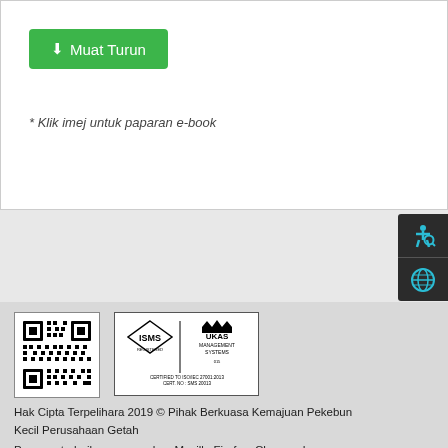↓ Muat Turun
* Klik imej untuk paparan e-book
[Figure (other): QR code and ISMS/UKAS certification logos in footer area]
Hak Cipta Terpelihara 2019 © Pihak Berkuasa Kemajuan Pekebun Kecil Perusahaan Getah
Paparan terbaik menggunakan Mozilla Firefox, Chrome dan Microsoft Edge ke atas dengan Resolusi 1280 x 1024
Kemaskini pada: 18 Ogos 2022, 23:50.
Jumlah Pelawat: 8112879
Penafian  Dasar Privasi  Dasar Keselamatan  Peta Laman  Bantuan